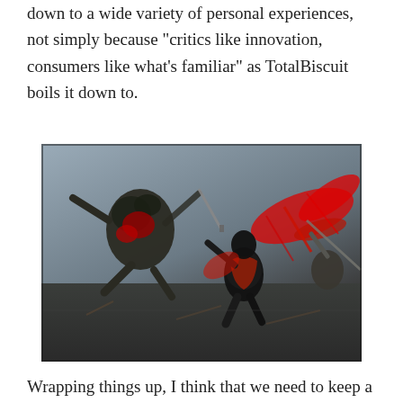down to a wide variety of personal experiences, not simply because "critics like innovation, consumers like what's familiar" as TotalBiscuit boils it down to.
[Figure (photo): A video game screenshot showing a dark armored warrior character fighting enemies with weapons, blood spray effects, in a gritty combat scene]
Wrapping things up, I think that we need to keep a few things about reviews in mind in the future. First of all, don't put all your faith in review scores, but be sure to read the full reviews to see if you agree with their analysis. Secondly, understand that a "low"